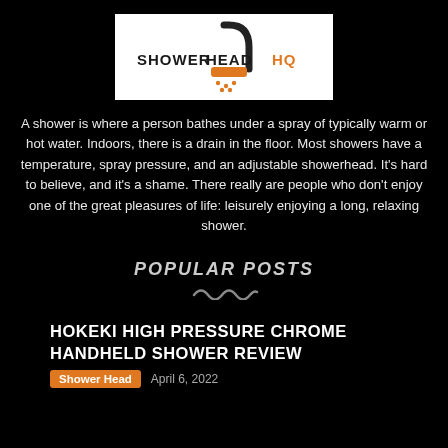[Figure (logo): ShowerHead HQ logo with orange shower head icon and black text on white background]
A shower is where a person bathes under a spray of typically warm or hot water. Indoors, there is a drain in the floor. Most showers have a temperature, spray pressure, and an adjustable showerhead. It’s hard to believe, and it’s a shame. There really are people who don’t enjoy one of the great pleasures of life: leisurely enjoying a long, relaxing shower.
POPULAR POSTS
HOKEKI HIGH PRESSURE CHROME HANDHELD SHOWER REVIEW
Shower Head   April 6, 2022